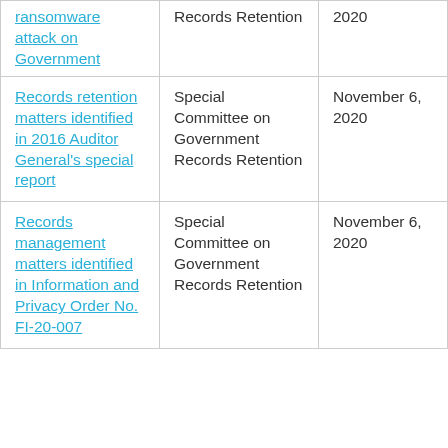| ransomware attack on Government | Records Retention | 2020 |
| Records retention matters identified in 2016 Auditor General's special report | Special Committee on Government Records Retention | November 6, 2020 |
| Records management matters identified in Information and Privacy Order No. FI-20-007 | Special Committee on Government Records Retention | November 6, 2020 |